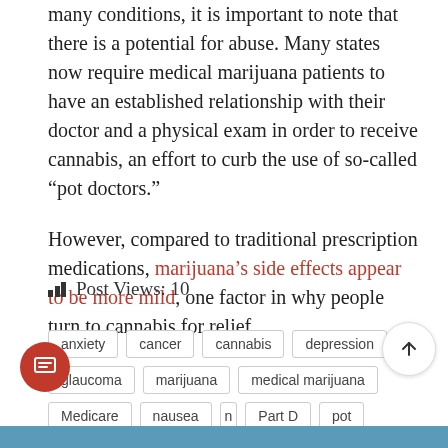many conditions, it is important to note that there is a potential for abuse. Many states now require medical marijuana patients to have an established relationship with their doctor and a physical exam in order to receive cannabis, an effort to curb the use of so-called “pot doctors.”
However, compared to traditional prescription medications, marijuana’s side effects appear to be more mild, one factor in why people turn to cannabis for relief.
Post Views: 10
anxiety
cancer
cannabis
depression
glaucoma
marijuana
medical marijuana
Medicare
nausea
Part D
pot
prescription drugs
weed